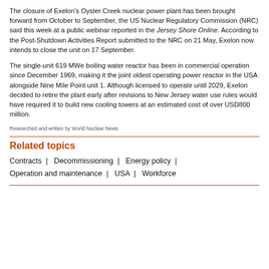The closure of Exelon's Oyster Creek nuclear power plant has been brought forward from October to September, the US Nuclear Regulatory Commission (NRC) said this week at a public webinar reported in the Jersey Shore Online. According to the Post-Shutdown Activities Report submitted to the NRC on 21 May, Exelon now intends to close the unit on 17 September.
The single-unit 619 MWe boiling water reactor has been in commercial operation since December 1969, making it the joint oldest operating power reactor in the USA alongside Nine Mile Point unit 1. Although licensed to operate until 2029, Exelon decided to retire the plant early after revisions to New Jersey water use rules would have required it to build new cooling towers at an estimated cost of over USD800 million.
Researched and written by World Nuclear News
Related topics
Contracts | Decommissioning | Energy policy | Operation and maintenance | USA | Workforce